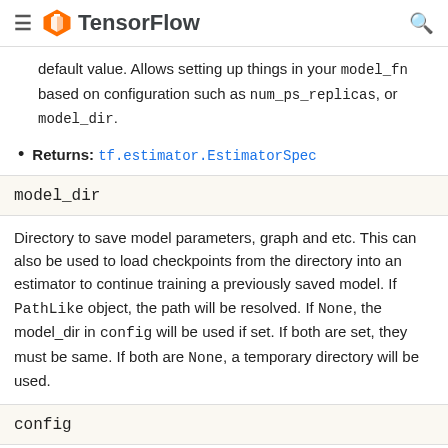TensorFlow
Returns: tf.estimator.EstimatorSpec
model_dir
Directory to save model parameters, graph and etc. This can also be used to load checkpoints from the directory into an estimator to continue training a previously saved model. If PathLike object, the path will be resolved. If None, the model_dir in config will be used if set. If both are set, they must be same. If both are None, a temporary directory will be used.
config
estimator.RunConfig configuration object.
params
dict of hyper parameters that will be passed into model_fn.